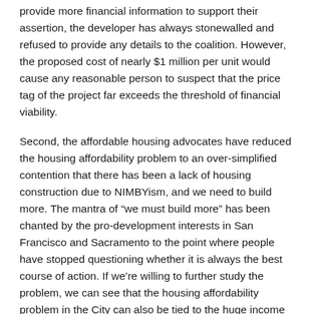provide more financial information to support their assertion, the developer has always stonewalled and refused to provide any details to the coalition. However, the proposed cost of nearly $1 million per unit would cause any reasonable person to suspect that the price tag of the project far exceeds the threshold of financial viability.
Second, the affordable housing advocates have reduced the housing affordability problem to an over-simplified contention that there has been a lack of housing construction due to NIMBYism, and we need to build more. The mantra of “we must build more” has been chanted by the pro-development interests in San Francisco and Sacramento to the point where people have stopped questioning whether it is always the best course of action. If we’re willing to further study the problem, we can see that the housing affordability problem in the City can also be tied to the huge income divide that has occurred within the last 10 years. Our economy has been undergoing massive changes in a very short period of time and high-tech is leading the way. The City’s economic policies have contributed to the huge income divide by inviting high-tech companies and their employees to move into the City. Building a massive low-income development